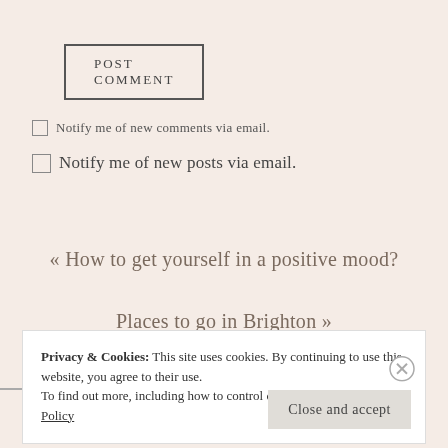POST COMMENT
Notify me of new comments via email.
Notify me of new posts via email.
« How to get yourself in a positive mood?
Places to go in Brighton »
Privacy & Cookies: This site uses cookies. By continuing to use this website, you agree to their use.
To find out more, including how to control cookies, see here: Cookie Policy
Close and accept